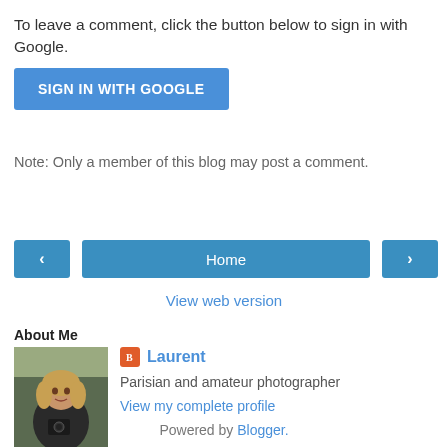To leave a comment, click the button below to sign in with Google.
[Figure (screenshot): Blue button labeled SIGN IN WITH GOOGLE]
Note: Only a member of this blog may post a comment.
[Figure (screenshot): Navigation bar with left arrow button, Home button, and right arrow button]
View web version
About Me
[Figure (photo): Profile photo of Laurent, a person with long hair holding a camera outdoors]
Laurent
Parisian and amateur photographer
View my complete profile
Powered by Blogger.